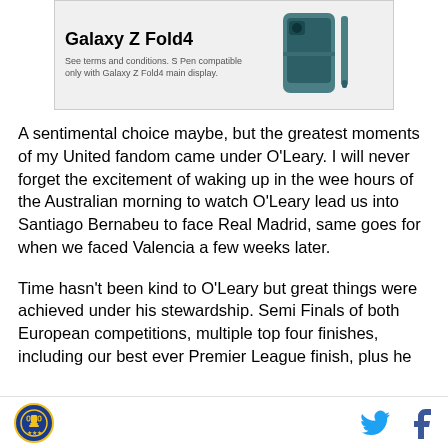[Figure (other): Samsung Galaxy Z Fold4 advertisement banner showing the phone product with bold title text and small print about S Pen compatibility]
A sentimental choice maybe, but the greatest moments of my United fandom came under O'Leary. I will never forget the excitement of waking up in the wee hours of the Australian morning to watch O'Leary lead us into Santiago Bernabeu to face Real Madrid, same goes for when we faced Valencia a few weeks later.
Time hasn't been kind to O'Leary but great things were achieved under his stewardship. Semi Finals of both European competitions, multiple top four finishes, including our best ever Premier League finish, plus he
Logo | Twitter | Facebook